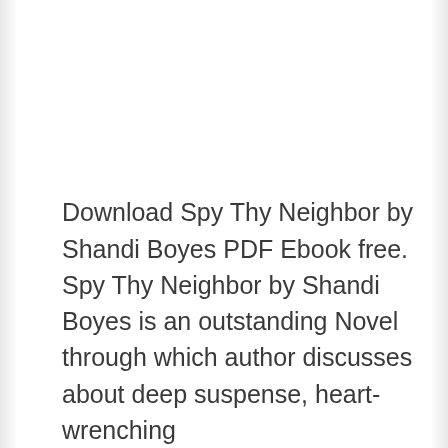Download Spy Thy Neighbor by Shandi Boyes PDF Ebook free. Spy Thy Neighbor by Shandi Boyes is an outstanding Novel through which author discusses about deep suspense, heart-wrenching